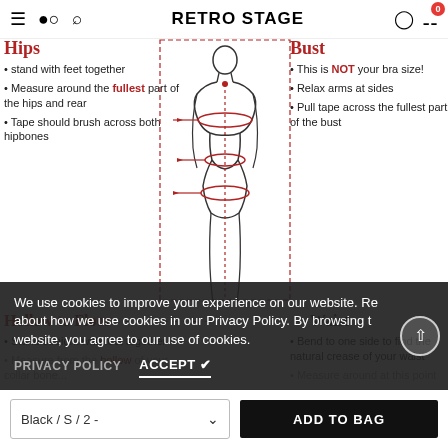RETRO STAGE
[Figure (illustration): Body measurement diagram showing a female figure outline with dashed measurement lines for Hips, Bust, Waist, and Hollow to Floor, with arrows indicating measurement points.]
Hips - stand with feet together
Measure around the fullest part of the hips and rear
Tape should brush across both hipbones
Bust - This is NOT your bra size!
Relax arms at sides
Pull tape across the fullest part of the bust
Hollow to Floor - Stand straight with feet together
Waist - Bend to one side to find the natural crease of your waist
We use cookies to improve your experience on our website. Read about how we use cookies in our Privacy Policy. By browsing this website, you agree to our use of cookies.
PRIVACY POLICY | ACCEPT
Black / S / 2 -
ADD TO BAG